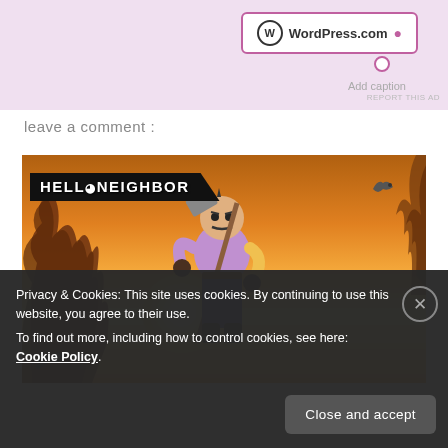[Figure (screenshot): WordPress.com widget in pink/lavender ad block with Add caption text and connector dot]
REPORT THIS AD
leave a comment :
[Figure (screenshot): Hello Neighbor game promotional image showing cartoon villain character holding shovel against warm orange sunset background with trees, banner logo in top-left]
Privacy & Cookies: This site uses cookies. By continuing to use this website, you agree to their use.
To find out more, including how to control cookies, see here: Cookie Policy
Close and accept